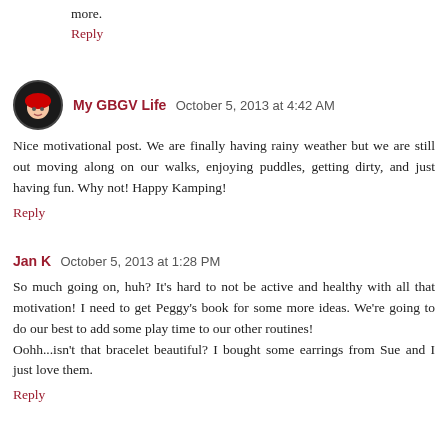more.
Reply
My GBGV Life  October 5, 2013 at 4:42 AM
Nice motivational post. We are finally having rainy weather but we are still out moving along on our walks, enjoying puddles, getting dirty, and just having fun. Why not! Happy Kamping!
Reply
Jan K  October 5, 2013 at 1:28 PM
So much going on, huh? It's hard to not be active and healthy with all that motivation! I need to get Peggy's book for some more ideas. We're going to do our best to add some play time to our other routines!
Oohh...isn't that bracelet beautiful? I bought some earrings from Sue and I just love them.
Reply